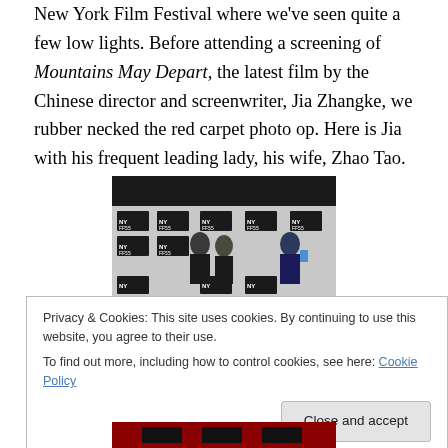New York Film Festival where we've seen quite a few low lights. Before attending a screening of Mountains May Depart, the latest film by the Chinese director and screenwriter, Jia Zhangke, we rubber necked the red carpet photo op. Here is Jia with his frequent leading lady, his wife, Zhao Tao.
[Figure (photo): Photo of Jia Zhangke and Zhao Tao at a NYFF red carpet event, with NYFF55 branded backdrop visible behind them and a person taking a photo on the right.]
Privacy & Cookies: This site uses cookies. By continuing to use this website, you agree to their use.
To find out more, including how to control cookies, see here: Cookie Policy
[Figure (photo): Partial bottom photo visible, appears to be another event photo.]